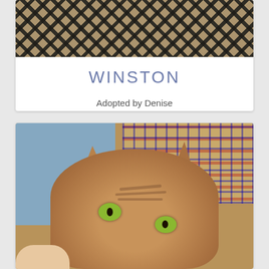[Figure (photo): Top portion of a cat photo showing a patterned textile/carpet background with dark and beige tones]
WINSTON
Adopted by Denise
[Figure (photo): Close-up photo of a brown tabby cat with yellow-green eyes, photographed from above. The cat is lying on or near a person wearing a blue denim shirt, with a plaid/tartan fabric visible in the background.]